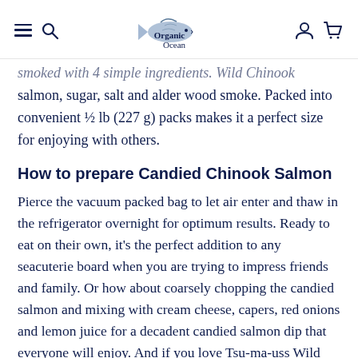Organic Ocean
smoked with 4 simple ingredients. Wild Chinook salmon, sugar, salt and alder wood smoke. Packed into convenient ½ lb (227 g) packs makes it a perfect size for enjoying with others.
How to prepare Candied Chinook Salmon
Pierce the vacuum packed bag to let air enter and thaw in the refrigerator overnight for optimum results. Ready to eat on their own, it's the perfect addition to any seacuterie board when you are trying to impress friends and family. Or how about coarsely chopping the candied salmon and mixing with cream cheese, capers, red onions and lemon juice for a decadent candied salmon dip that everyone will enjoy. And if you love Tsu-ma-uss Wild Candied Chinook